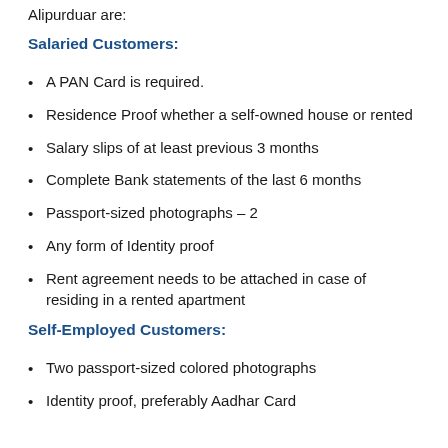Alipurduar are:
Salaried Customers:
A PAN Card is required.
Residence Proof whether a self-owned house or rented
Salary slips of at least previous 3 months
Complete Bank statements of the last 6 months
Passport-sized photographs – 2
Any form of Identity proof
Rent agreement needs to be attached in case of residing in a rented apartment
Self-Employed Customers:
Two passport-sized colored photographs
Identity proof, preferably Aadhar Card